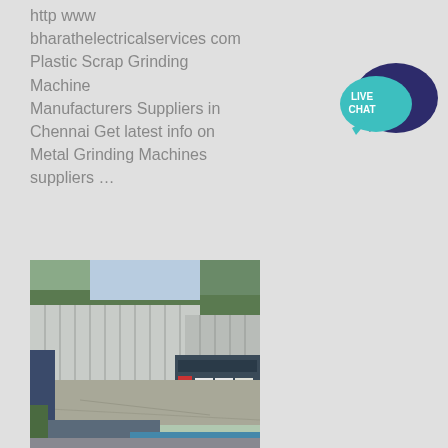http www bharathelectricalservices com Plastic Scrap Grinding Machine Manufacturers Suppliers in Chennai Get latest info on Metal Grinding Machines suppliers …
[Figure (illustration): Live chat button with speech bubble icons in teal and dark navy blue, showing text LIVE CHAT]
[Figure (photo): Aerial view of an industrial factory complex with large warehouse buildings featuring white-striped roofs, trucks in a yard, and surrounded by trees]